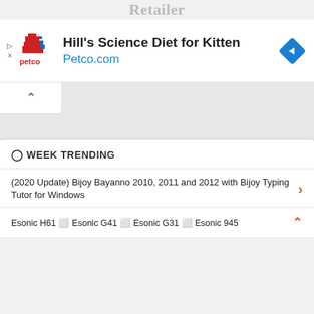Retailer
[Figure (screenshot): Petco advertisement banner featuring the Petco pixel-art logo, text 'Hill's Science Diet for Kitten' and 'Petco.com' in blue, with a blue diamond navigation icon on the right, and small ad disclosure icons on the left.]
WEEK TRENDING
(2020 Update) Bijoy Bayanno 2010, 2011 and 2012 with Bijoy Typing Tutor for Windows
Esonic H61 | Esonic G41 | Esonic G31 | Esonic 945